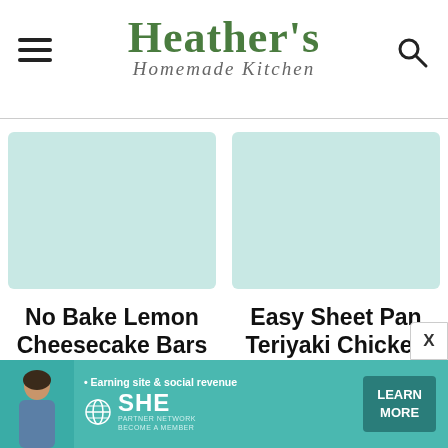Heather's Homemade Kitchen
[Figure (illustration): Thumbnail image placeholder for No Bake Lemon Cheesecake Bars]
No Bake Lemon Cheesecake Bars
[Figure (illustration): Thumbnail image placeholder for Easy Sheet Pan Teriyaki Chicken]
Easy Sheet Pan Teriyaki Chicken
[Figure (infographic): SHE Media Partner Network advertisement banner: Earning site & social revenue, LEARN MORE button]